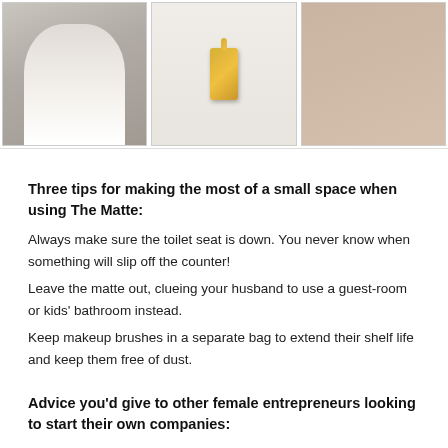[Figure (photo): Three product/lifestyle photos in a row: left shows a woman in white shirt with necklace, center shows a gold rectangular pendant necklace on light background, right shows a close-up of a gold ring necklace on a hand/wrist.]
Three tips for making the most of a small space when using The Matte:
Always make sure the toilet seat is down. You never know when something will slip off the counter!
Leave the matte out, clueing your husband to use a guest-room or kids' bathroom instead.
Keep makeup brushes in a separate bag to extend their shelf life and keep them free of dust.
Advice you'd give to other female entrepreneurs looking to start their own companies:
Most industries have trade organizations that are there to